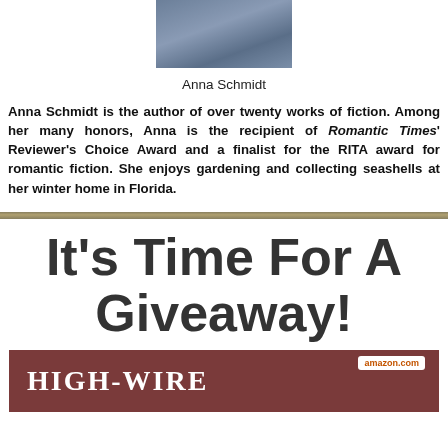[Figure (photo): Partial photo of Anna Schmidt, showing a person wearing a denim jacket, cropped at top]
Anna Schmidt
Anna Schmidt is the author of over twenty works of fiction. Among her many honors, Anna is the recipient of Romantic Times' Reviewer's Choice Award and a finalist for the RITA award for romantic fiction. She enjoys gardening and collecting seashells at her winter home in Florida.
It's Time For A Giveaway!
[Figure (photo): Bottom banner showing book cover for HIGH-WIRE with amazon.com badge]